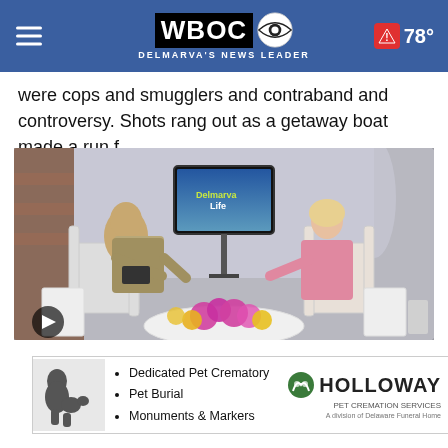WBOC — DELMARVA'S NEWS LEADER | 78°
were cops and smugglers and contraband and controversy. Shots rang out as a getaway boat made a run f...
[Figure (screenshot): Video thumbnail showing a TV studio interview scene with two people seated in chairs and a 'DelmarvaLife' branded screen in the background. A play button is visible at bottom left.]
[Figure (infographic): Advertisement banner for Holloway Pet Cremation Services listing: Dedicated Pet Crematory, Pet Burial, Monuments & Markers, with Holloway logo on the right.]